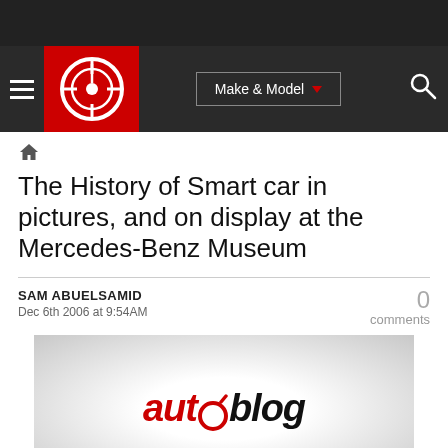Navigation bar with hamburger menu, Autoblog logo, Make & Model dropdown, search icon
The History of Smart car in pictures, and on display at the Mercedes-Benz Museum
SAM ABUELSAMID
Dec 6th 2006 at 9:54AM
0 comments
[Figure (logo): Autoblog logo on grey gradient background]